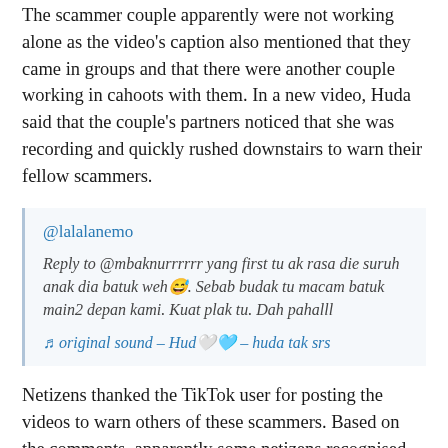The scammer couple apparently were not working alone as the video's caption also mentioned that they came in groups and that there were another couple working in cahoots with them. In a new video, Huda said that the couple's partners noticed that she was recording and quickly rushed downstairs to warn their fellow scammers.
@lalalanemo

Reply to @mbaknurrrrrr yang first tu ak rasa die suruh anak dia batuk weh😅. Sebab budak tu macam batuk main2 depan kami. Kuat plak tu. Dah pahalll

♬ original sound – Hud🤍🩵 – huda tak srs
Netizens thanked the TikTok user for posting the videos to warn others of these scammers. Based on the comments, apparently some netizens recognised and